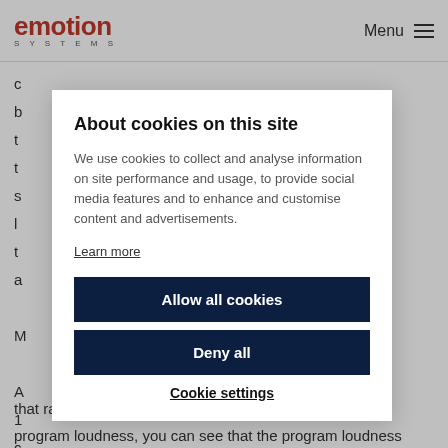emotion SYSTEMS  |  Menu
c
b
t
t
s
l
t
a
About cookies on this site
We use cookies to collect and analyse information on site performance and usage, to provide social media features and to enhance and customise content and advertisements.
Learn more
Allow all cookies
Deny all
Cookie settings
M
A
1
c
that range. But it gives you an idea. If we now look at the program loudness, you can see that the program loudness